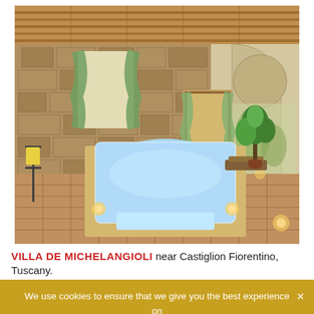[Figure (photo): Indoor swimming pool in a rustic Tuscan villa with stone walls, wooden ceiling beams, green curtains, warm floor lighting, a lounger, and tropical plant]
VILLA DE MICHELANGIOLI near Castiglion Fiorentino, Tuscany.
We use cookies to ensure that we give you the best experience on our website. If you continue to use this site we will assume that you are happy with it. Ok  Read more